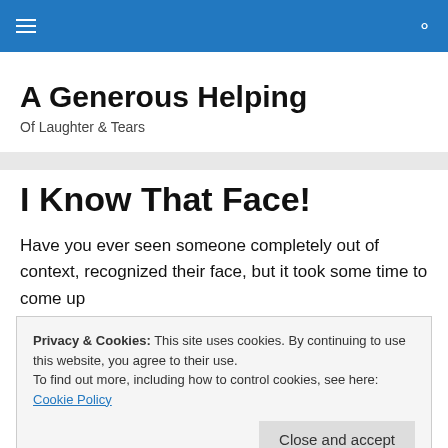A Generous Helping — Of Laughter & Tears
A Generous Helping
Of Laughter & Tears
I Know That Face!
Have you ever seen someone completely out of context, recognized their face, but it took some time to come up
Privacy & Cookies: This site uses cookies. By continuing to use this website, you agree to their use.
To find out more, including how to control cookies, see here: Cookie Policy
Close and accept
person?" you ask yourself until it finally clicks.